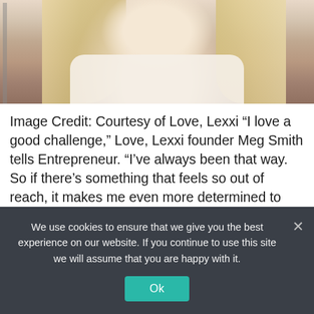[Figure (photo): Partial photo of a blonde woman in a white shirt, cropped to show neck and hair area, with a light background.]
Image Credit: Courtesy of Love, Lexxi
“I love a good challenge,” Love, Lexxi founder Meg Smith tells Entrepreneur. “I’ve always been that way. So if there’s something that feels so out of reach, it makes me even more determined to find a way to get it done.” Smith’s Zoom background offers a glimpse into one … Read more
We use cookies to ensure that we give you the best experience on our website. If you continue to use this site we will assume that you are happy with it.